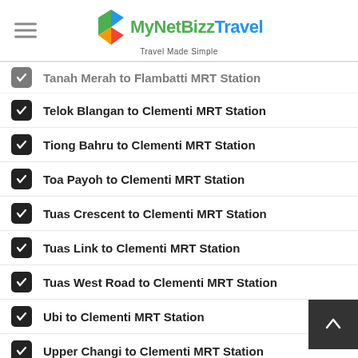MyNetBizzTravel — Travel Made Simple
Tanah Merah to Flambatti MRT Station (clipped top)
Telok Blangan to Clementi MRT Station
Tiong Bahru to Clementi MRT Station
Toa Payoh to Clementi MRT Station
Tuas Crescent to Clementi MRT Station
Tuas Link to Clementi MRT Station
Tuas West Road to Clementi MRT Station
Ubi to Clementi MRT Station
Upper Changi to Clementi MRT Station
Upper Thomson to Clementi MRT Station
Woodlands to Clementi MRT Station
Woodlands North to Clementi MRT Station
Woodlands South to Clementi MRT Station (clipped bottom)